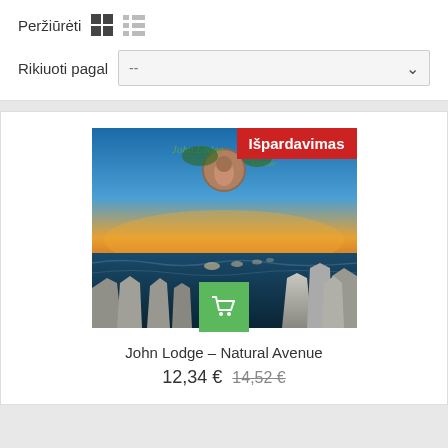Peržiūrėti
Rikiuoti pagal --
[Figure (photo): Album cover for John Lodge – Natural Avenue showing a surreal landscape with rocky formations, ocean, sunset sky, and a portrait medallion at the top. A red 'Išpardavimas' (sale) badge is in the top right corner. A green shopping cart button is at the bottom center.]
John Lodge – Natural Avenue
12,34 €  14,52 €